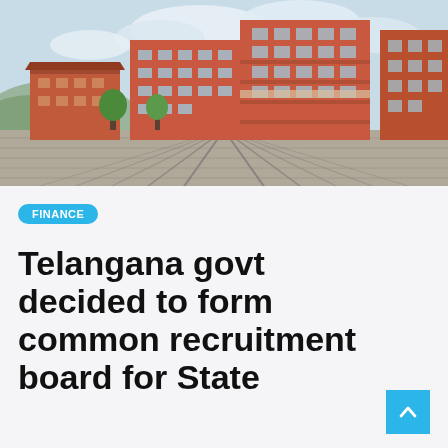[Figure (photo): Exterior view of red brick multi-story institutional/residential buildings with a paved courtyard in the foreground, under a partly cloudy sky.]
FINANCE
Telangana govt decided to form common recruitment board for State